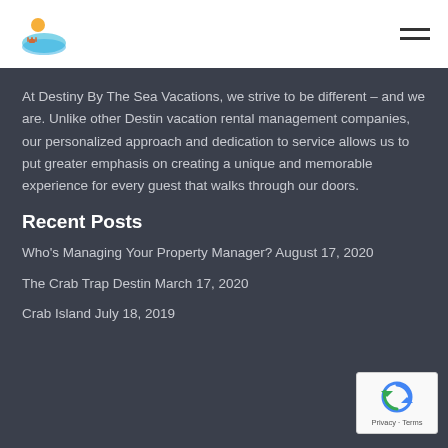[Figure (logo): Destiny By The Sea Vacations logo — small icon with sun and waves]
At Destiny By The Sea Vacations, we strive to be different – and we are. Unlike other Destin vacation rental management companies, our personalized approach and dedication to service allows us to put greater emphasis on creating a unique and memorable experience for every guest that walks through our doors.
Recent Posts
Who's Managing Your Property Manager? August 17, 2020
The Crab Trap Destin March 17, 2020
Crab Island July 18, 2019
[Figure (logo): reCAPTCHA badge with logo, Privacy and Terms text]